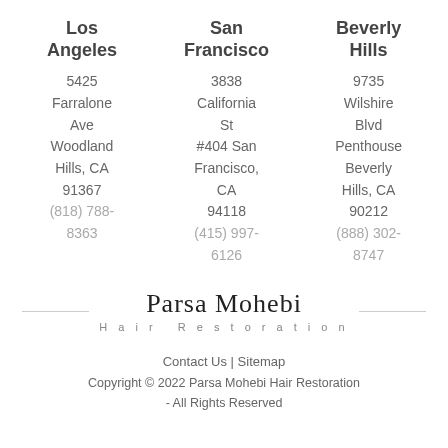| Los Angeles | San Francisco | Beverly Hills |
| --- | --- | --- |
| 5425 Farralone Ave Woodland Hills, CA 91367 (818) 788-8363 | 3838 California St #404 San Francisco, CA 94118 (415) 997-6126 | 9735 Wilshire Blvd Penthouse Beverly Hills, CA 90212 (888) 302-8747 |
[Figure (logo): Parsa Mohebi Hair Restoration logo with decorative horizontal lines on each side]
Contact Us | Sitemap
Copyright © 2022 Parsa Mohebi Hair Restoration - All Rights Reserved